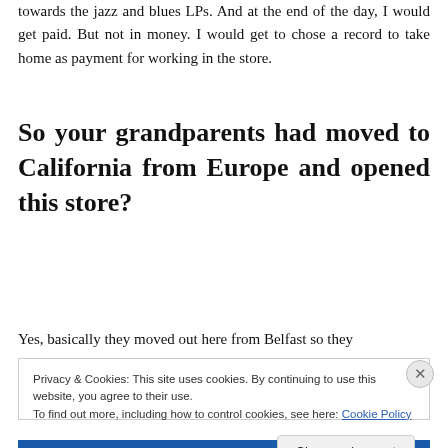towards the jazz and blues LPs. And at the end of the day, I would get paid. But not in money. I would get to chose a record to take home as payment for working in the store.
So your grandparents had moved to California from Europe and opened this store?
Yes, basically they moved out here from Belfast so they
Privacy & Cookies: This site uses cookies. By continuing to use this website, you agree to their use.
To find out more, including how to control cookies, see here: Cookie Policy
Close and accept